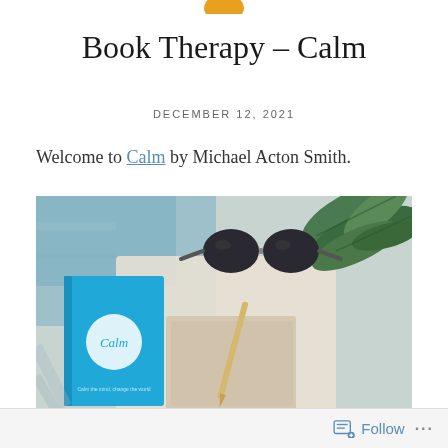[Figure (logo): Partial orange/yellow circular logo at top center, cropped by page edge]
Book Therapy – Calm
DECEMBER 12, 2021
Welcome to Calm by Michael Acton Smith.
[Figure (photo): Photo of a blue 'Calm' book with a white circle logo on the cover, lying on a blanket/fabric surface alongside a pair of dark sunglasses, a pencil, a notebook, and green tropical leaves in the background]
Follow ...